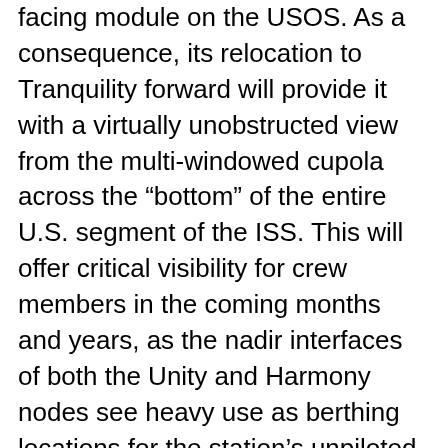facing module on the USOS. As a consequence, its relocation to Tranquility forward will provide it with a virtually unobstructed view from the multi-windowed cupola across the “bottom” of the entire U.S. segment of the ISS. This will offer critical visibility for crew members in the coming months and years, as the nadir interfaces of both the Unity and Harmony nodes see heavy use as berthing locations for the station’s unpiloted visitors, including Japan’s H-II Transfer Vehicle (HTV), SpaceX’s Dragon and Orbital Sciences’ Cygnus. On 23 August, the HTV-5 mission will berth at Harmony nadir, then be robotically transferred to Unity nadir on 31 August. This will allow SpaceX’s CRS-8 Dragon to berth directly at Harmony nadir on 4 September, thereby marking the first occasion that as